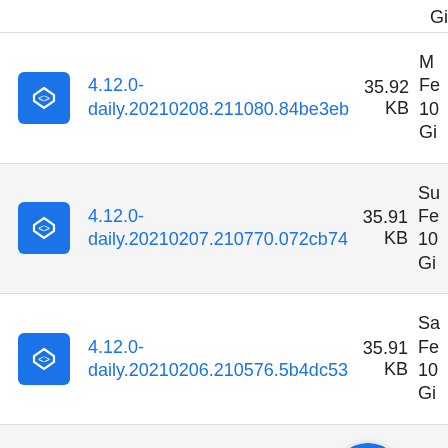(partial row top) Gi...
4.12.0-daily.20210208.211080.84be3eb  35.92 KB  Mo Fe 10 Gi
4.12.0-daily.20210207.210770.072cb74  35.91 KB  Su Fe 10 Gi
4.12.0-daily.20210206.210576.5b4dc53  35.91 KB  Sa Fe 10 Gi
4.12.0-daily.20210205.210249.a163e05  ... KB  Fr Fe 10